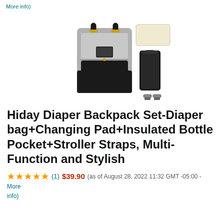More info)
[Figure (photo): Product photo of a gray and black diaper backpack with accessories including a changing pad, insulated bottle pocket, and stroller straps]
Hiday Diaper Backpack Set-Diaper bag+Changing Pad+Insulated Bottle Pocket+Stroller Straps, Multi-Function and Stylish
★★★★★ (1) $39.90 (as of August 28, 2022 11:32 GMT -05:00 - More info)